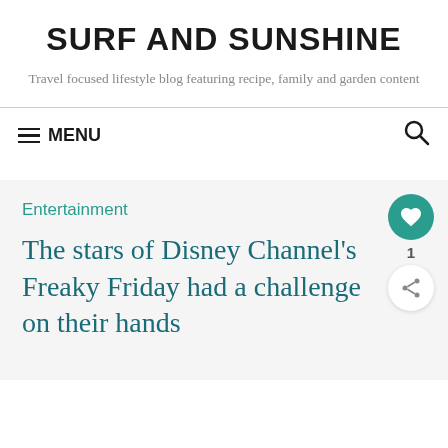SURF AND SUNSHINE
Travel focused lifestyle blog featuring recipe, family and garden content
≡ MENU
Entertainment
The stars of Disney Channel's Freaky Friday had a challenge on their hands